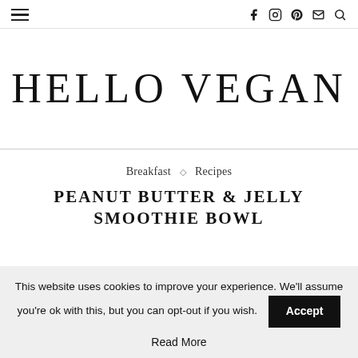≡  [nav icons: facebook, instagram, pinterest, email, search]
HELLO VEGAN
Breakfast ◇ Recipes
PEANUT BUTTER & JELLY SMOOTHIE BOWL
This website uses cookies to improve your experience. We'll assume you're ok with this, but you can opt-out if you wish.  Accept
Read More